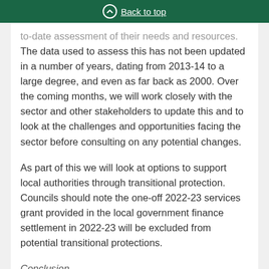Back to top
to-date assessment of their needs and resources. The data used to assess this has not been updated in a number of years, dating from 2013-14 to a large degree, and even as far back as 2000. Over the coming months, we will work closely with the sector and other stakeholders to update this and to look at the challenges and opportunities facing the sector before consulting on any potential changes.
As part of this we will look at options to support local authorities through transitional protection. Councils should note the one-off 2022-23 services grant provided in the local government finance settlement in 2022-23 will be excluded from potential transitional protections.
Conclusion